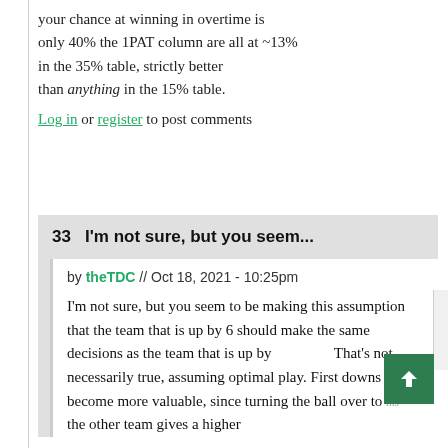your chance at winning in overtime is only 40% the 1PAT column are all at ~13% in the 35% table, strictly better than anything in the 15% table.
Log in or register to post comments
33  I'm not sure, but you seem...
by theTDC // Oct 18, 2021 - 10:25pm
I'm not sure, but you seem to be making this assumption that the team that is up by 6 should make the same decisions as the team that is up by [cut off]. That's not necessarily true, assuming optimal play. First downs become more valuable, since turning the ball over to the other team gives a higher [cut off]